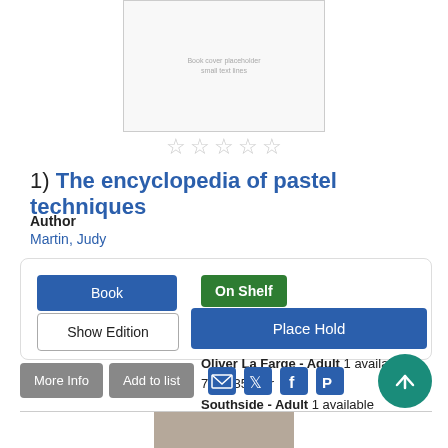[Figure (illustration): Book cover thumbnail for The encyclopedia of pastel techniques]
☆☆☆☆☆
1)  The encyclopedia of pastel techniques
Author
Martin, Judy
Book | Show Edition | On Shelf | Main Library - Adult  1 available
741.235 Mar
Oliver La Farge - Adult  1 available
741.235 Mar
Southside - Adult  1 available
741.235 Mar
Place Hold
More Info  Add to list
[Figure (photo): Partial book cover image at bottom of page]